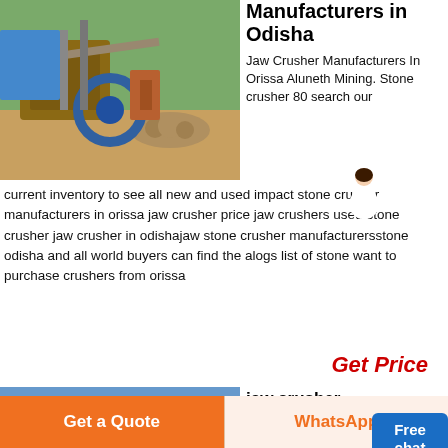[Figure (photo): Outdoor photo of a stone crusher / mining equipment site with machinery and conveyor belts]
Manufacturers in Odisha
Jaw Crusher Manufacturers In Orissa Aluneth Mining. Stone crusher 80 search our current inventory to see all new and used impact stone crusher manufacturers in orissa jaw crusher price jaw crushers used stone crusher jaw crusher in odishajaw stone crusher manufacturersstone odisha and all world buyers can find the alogs list of stone want to purchase crushers from orissa
Get Price
[Figure (photo): Outdoor photo of industrial jaw crusher manufacturing facility]
jaw crusher manufacturers in orissa
Get a Quote
WhatsApp